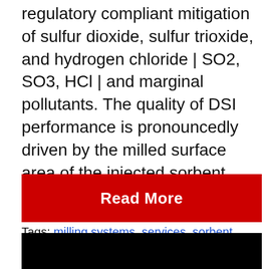regulatory compliant mitigation of sulfur dioxide, sulfur trioxide, and hydrogen chloride | SO2, SO3, HCl | and marginal pollutants. The quality of DSI performance is pronouncedly driven by the milled surface area of the injected sorbent material. The residence time [...]
Tags: milling systems, services, sorbent technologies
Read More
[Figure (photo): Black image/video thumbnail area at the bottom of the page]